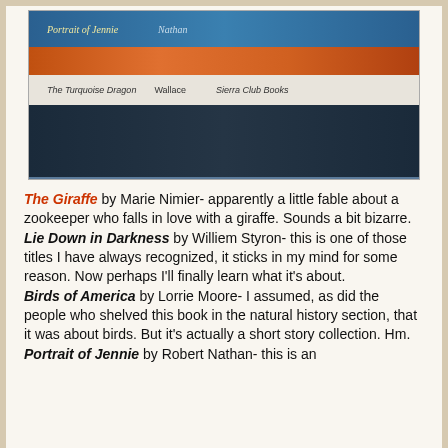[Figure (photo): A stack of books photographed from the side, showing their spines. Visible titles include 'Portrait of Jennie' (blue spine), an orange/red spine, 'The Turquoise Dragon' by Wallace from Sierra Club Books (white spine), and a dark navy blue spine at the bottom.]
The Giraffe by Marie Nimier- apparently a little fable about a zookeeper who falls in love with a giraffe. Sounds a bit bizarre. Lie Down in Darkness by Williem Styron- this is one of those titles I have always recognized, it sticks in my mind for some reason. Now perhaps I'll finally learn what it's about. Birds of America by Lorrie Moore- I assumed, as did the people who shelved this book in the natural history section, that it was about birds. But it's actually a short story collection. Hm. Portrait of Jennie by Robert Nathan- this is an